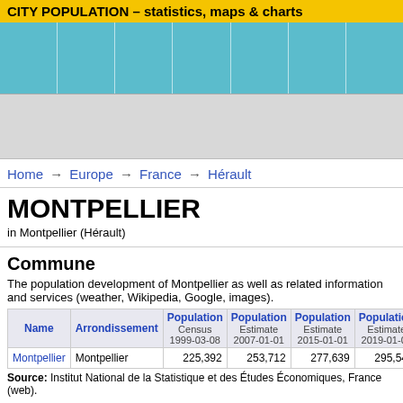CITY POPULATION – statistics, maps & charts
[Figure (other): Teal/cyan navigation band with vertical column separators]
[Figure (other): Gray advertisement area placeholder]
Home → Europe → France → Hérault
MONTPELLIER
in Montpellier (Hérault)
Commune
The population development of Montpellier as well as related information and services (weather, Wikipedia, Google, images).
| Name | Arrondissement | Population Census 1999-03-08 | Population Estimate 2007-01-01 | Population Estimate 2015-01-01 | Population Estimate 2019-01-01 |
| --- | --- | --- | --- | --- | --- |
| Montpellier | Montpellier | 225,392 | 253,712 | 277,639 | 295,542 |
Source: Institut National de la Statistique et des Études Économiques, France (web).